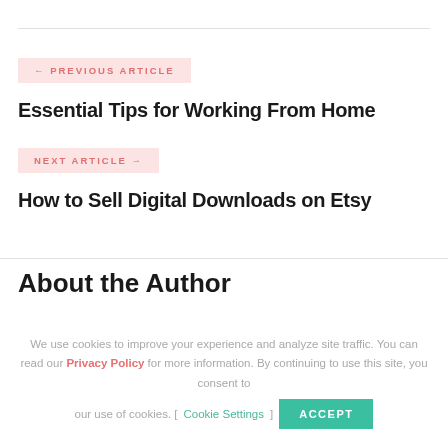← PREVIOUS ARTICLE
Essential Tips for Working From Home
NEXT ARTICLE →
How to Sell Digital Downloads on Etsy
About the Author
We use cookies to improve your experience and analyze site traffic. You can read our Privacy Policy for more information. By continuing to use this site, you consent to our use of cookies. [ Cookie Settings ] ACCEPT